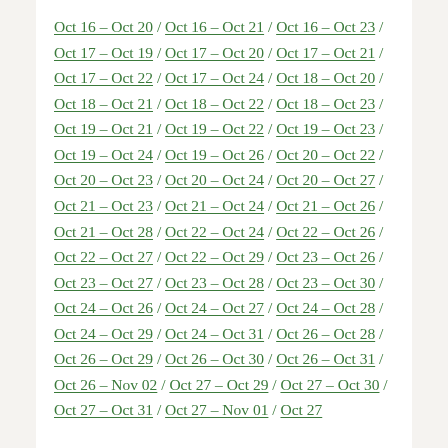Oct 16 – Oct 20 / Oct 16 – Oct 21 / Oct 16 – Oct 23 / Oct 17 – Oct 19 / Oct 17 – Oct 20 / Oct 17 – Oct 21 / Oct 17 – Oct 22 / Oct 17 – Oct 24 / Oct 18 – Oct 20 / Oct 18 – Oct 21 / Oct 18 – Oct 22 / Oct 18 – Oct 23 / Oct 19 – Oct 21 / Oct 19 – Oct 22 / Oct 19 – Oct 23 / Oct 19 – Oct 24 / Oct 19 – Oct 26 / Oct 20 – Oct 22 / Oct 20 – Oct 23 / Oct 20 – Oct 24 / Oct 20 – Oct 27 / Oct 21 – Oct 23 / Oct 21 – Oct 24 / Oct 21 – Oct 26 / Oct 21 – Oct 28 / Oct 22 – Oct 24 / Oct 22 – Oct 26 / Oct 22 – Oct 27 / Oct 22 – Oct 29 / Oct 23 – Oct 26 / Oct 23 – Oct 27 / Oct 23 – Oct 28 / Oct 23 – Oct 30 / Oct 24 – Oct 26 / Oct 24 – Oct 27 / Oct 24 – Oct 28 / Oct 24 – Oct 29 / Oct 24 – Oct 31 / Oct 26 – Oct 28 / Oct 26 – Oct 29 / Oct 26 – Oct 30 / Oct 26 – Oct 31 / Oct 26 – Nov 02 / Oct 27 – Oct 29 / Oct 27 – Oct 30 / Oct 27 – Oct 31 / Oct 27 – Nov 01 / Oct 27 –